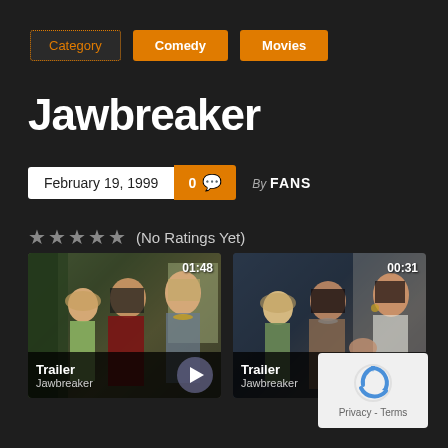Category
Comedy
Movies
Jawbreaker
February 19, 1999  0 [comment icon]  By FANS
★★★★★ (No Ratings Yet)
[Figure (screenshot): Video thumbnail 1 - Trailer for Jawbreaker, duration 01:48, showing three women from the movie]
[Figure (screenshot): Video thumbnail 2 - Trailer for Jawbreaker, duration 00:31, showing three women from the movie]
[Figure (other): Google reCAPTCHA badge with Privacy - Terms text]